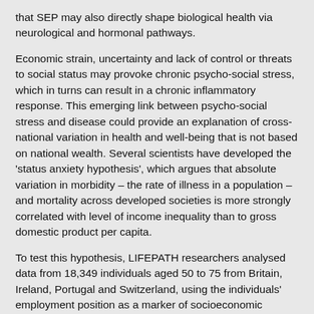that SEP may also directly shape biological health via neurological and hormonal pathways.
Economic strain, uncertainty and lack of control or threats to social status may provoke chronic psycho-social stress, which in turns can result in a chronic inflammatory response. This emerging link between psycho-social stress and disease could provide an explanation of cross-national variation in health and well-being that is not based on national wealth. Several scientists have developed the 'status anxiety hypothesis', which argues that absolute variation in morbidity – the rate of illness in a population – and mortality across developed societies is more strongly correlated with level of income inequality than to gross domestic product per capita.
To test this hypothesis, LIFEPATH researchers analysed data from 18,349 individuals aged 50 to 75 from Britain, Ireland, Portugal and Switzerland, using the individuals' employment position as a marker of socioeconomic position, the concentration of the C-reactive protein (CRP) as an indicator of chronic inflammation,